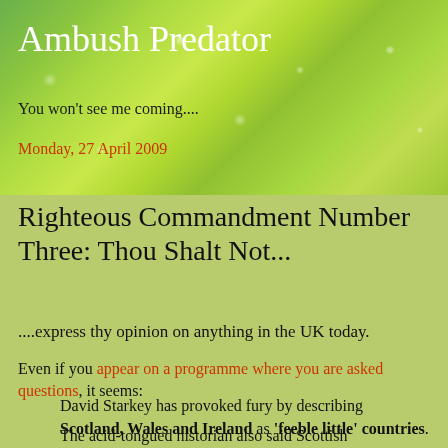Ambush Predator
You won't see me coming....
Monday, 27 April 2009
Righteous Commandment Number Three: Thou Shalt Not...
....express thy opinion on anything in the UK today.
Even if you appear on a programme where you are asked questions, it seems:
David Starkey has provoked fury by describing Scotland, Wales and Ireland as 'feeble little' countries.
The acid-tongued historian also said Scottish